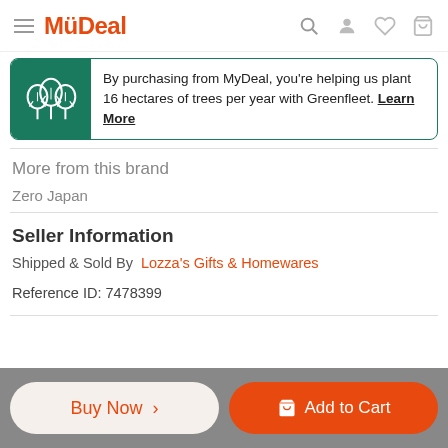MyDeal
By purchasing from MyDeal, you're helping us plant 16 hectares of trees per year with Greenfleet. Learn More
More from this brand
Zero Japan
Seller Information
Shipped & Sold By  Lozza's Gifts & Homewares
Reference ID: 7478399
Buy Now >   Add to Cart